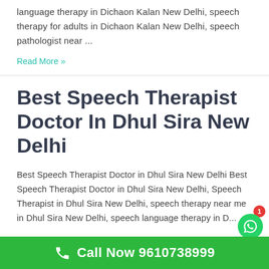language therapy in Dichaon Kalan New Delhi, speech therapy for adults in Dichaon Kalan New Delhi, speech pathologist near ...
Read More »
Best Speech Therapist Doctor In Dhul Sira New Delhi
Best Speech Therapist Doctor in Dhul Sira New Delhi Best Speech Therapist Doctor in Dhul Sira New Delhi, Speech Therapist in Dhul Sira New Delhi, speech therapy near me in Dhul Sira New Delhi, speech language therapy in...
Call Now 9610738999